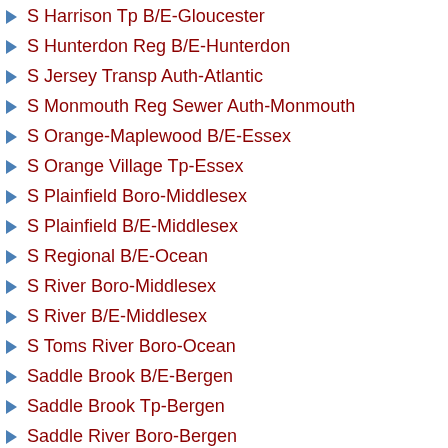S Harrison Tp B/E-Gloucester
S Hunterdon Reg B/E-Hunterdon
S Jersey Transp Auth-Atlantic
S Monmouth Reg Sewer Auth-Monmouth
S Orange-Maplewood B/E-Essex
S Orange Village Tp-Essex
S Plainfield Boro-Middlesex
S Plainfield B/E-Middlesex
S Regional B/E-Ocean
S River Boro-Middlesex
S River B/E-Middlesex
S Toms River Boro-Ocean
Saddle Brook B/E-Bergen
Saddle Brook Tp-Bergen
Saddle River Boro-Bergen
Saddle River B/E-Bergen
Salem-Salem
Salem City BE-Salem
Salem Comm College-Salem
Salem Cty-Salem
Salem Cty Judiciary-Salem